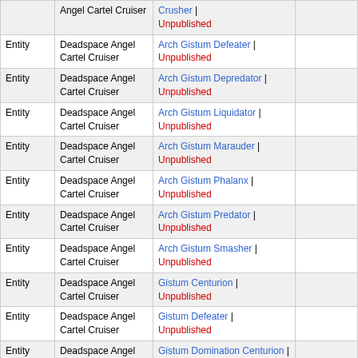|  |  |  |  |  |
| --- | --- | --- | --- | --- |
|  | Deadspace Angel Cartel Cruiser | Crusher | Unpublished |  |  |
| Entity | Deadspace Angel Cartel Cruiser | Arch Gistum Defeater | Unpublished |  | 0.6 |
| Entity | Deadspace Angel Cartel Cruiser | Arch Gistum Depredator | Unpublished |  | 0.6 |
| Entity | Deadspace Angel Cartel Cruiser | Arch Gistum Liquidator | Unpublished |  | 0.6 |
| Entity | Deadspace Angel Cartel Cruiser | Arch Gistum Marauder | Unpublished |  | 0.6 |
| Entity | Deadspace Angel Cartel Cruiser | Arch Gistum Phalanx | Unpublished |  | 0.6 |
| Entity | Deadspace Angel Cartel Cruiser | Arch Gistum Predator | Unpublished |  | 0.6 |
| Entity | Deadspace Angel Cartel Cruiser | Arch Gistum Smasher | Unpublished |  | 0.6 |
| Entity | Deadspace Angel Cartel Cruiser | Gistum Centurion | Unpublished |  | 0.6 |
| Entity | Deadspace Angel Cartel Cruiser | Gistum Defeater | Unpublished |  | 0.6 |
| Entity | Deadspace Angel Cartel Cruiser | Gistum Domination Centurion | Unpublished |  | 0.6 |
| Entity | Deadspace Angel Cartel Cruiser | Gistum Domination ... |  | 0.6 |